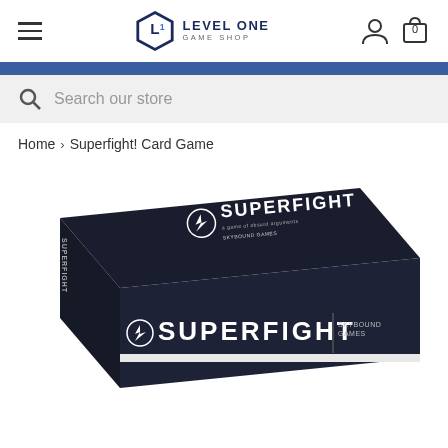Level One Game Shop — navigation header with hamburger menu, logo, user icon, and cart (0)
Search our store
Home > Superfight! Card Game
[Figure (photo): Product photo of Superfight card game box — dark navy/black box with SUPERFIGHT branding and lightning bolt logo, shown at an angle revealing the top and front face. Skybound Games branding visible.]